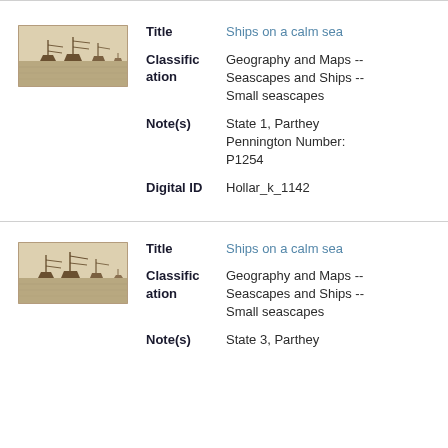[Figure (photo): Thumbnail image of ships on a calm sea, sepia-toned engraving]
Title: Ships on a calm sea
Classification: Geography and Maps -- Seascapes and Ships -- Small seascapes
Note(s): State 1, Parthey Pennington Number: P1254
Digital ID: Hollar_k_1142
[Figure (photo): Thumbnail image of ships on a calm sea, sepia-toned engraving (second record)]
Title: Ships on a calm sea
Classification: Geography and Maps -- Seascapes and Ships -- Small seascapes
Note(s): State 3, Parthey